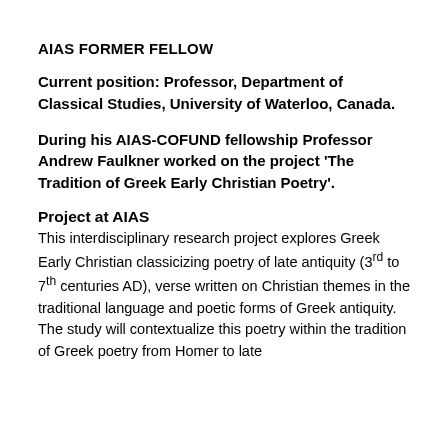AIAS FORMER FELLOW
Current position: Professor, Department of Classical Studies, University of Waterloo, Canada.
During his AIAS-COFUND fellowship Professor Andrew Faulkner worked on the project 'The Tradition of Greek Early Christian Poetry'.
Project at AIAS
This interdisciplinary research project explores Greek Early Christian classicizing poetry of late antiquity (3rd to 7th centuries AD), verse written on Christian themes in the traditional language and poetic forms of Greek antiquity. The study will contextualize this poetry within the tradition of Greek poetry from Homer to late